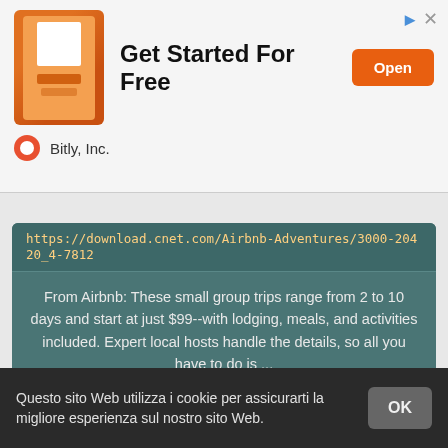[Figure (screenshot): Bitly Inc. advertisement banner with QR code image, 'Get Started For Free' headline, and orange 'Open' button]
https://download.cnet.com/Airbnb-Adventures/3000-20420_4-7812
From Airbnb: These small group trips range from 2 to 10 days and start at just $99--with lodging, meals, and activities included. Expert local hosts handle the details, so all you have to do is ...
STATUS: ATTIVO
ANTEPRIMA
SCARICA
AIRBNB PURGES THOUSANDS OF SAN FRANCISCO LISTINGS OVERNIGHT
Questo sito Web utilizza i cookie per assicurarti la migliore esperienza sul nostro sito Web.